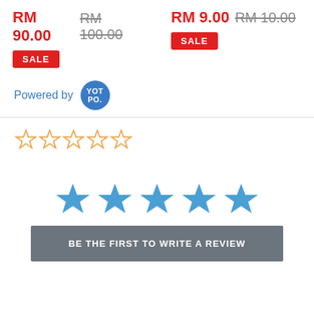RM 90.00  RM 100.00
RM 9.00  RM 10.00
SALE
SALE
Powered by YOTPO.
[Figure (other): Five outline stars (rating widget, empty/unrated)]
[Figure (other): Five filled blue stars]
BE THE FIRST TO WRITE A REVIEW